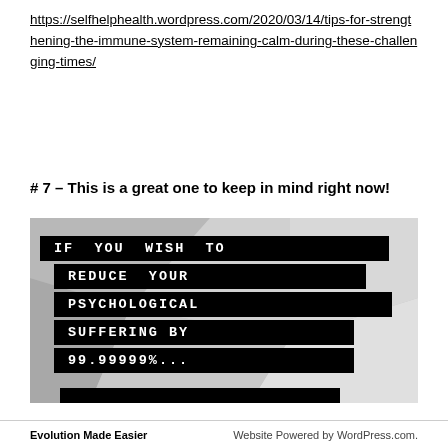https://selfhelphealth.wordpress.com/2020/03/14/tips-for-strengthening-the-immune-system-remaining-calm-during-these-challenging-times/
# 7 – This is a great one to keep in mind right now!
[Figure (photo): Motivational image with geometric grey background showing text on black banner panels reading: IF YOU WISH TO REDUCE YOUR PSYCHOLOGICAL SUFFERING BY 99.99999%...]
Evolution Made Easier    Website Powered by WordPress.com.